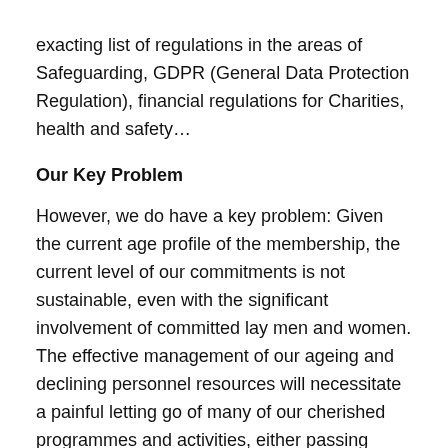exacting list of regulations in the areas of Safeguarding, GDPR (General Data Protection Regulation), financial regulations for Charities, health and safety…
Our Key Problem
However, we do have a key problem: Given the current age profile of the membership, the current level of our commitments is not sustainable, even with the significant involvement of committed lay men and women. The effective management of our ageing and declining personnel resources will necessitate a painful letting go of many of our cherished programmes and activities, either passing them over to a cohort of committed and trained lay men and women willing to take them on, or just dropping them entirely. It is essential, then, that this Assembly draw up a realistic, feasible and integrated plan of action in line with